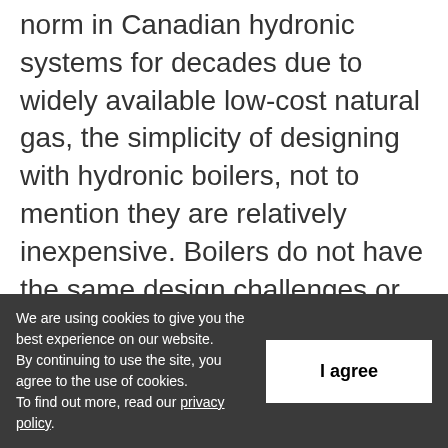norm in Canadian hydronic systems for decades due to widely available low-cost natural gas, the simplicity of designing with hydronic boilers, not to mention they are relatively inexpensive. Boilers do not have the same design challenges or constraints that air-to-water heat pumps have, so even just a few years ago it was easy for an engineer to explain to a client why they wouldn't entertain an alternative to a boiler.
We are using cookies to give you the best experience on our website. By continuing to use the site, you agree to the use of cookies. To find out more, read our privacy policy.